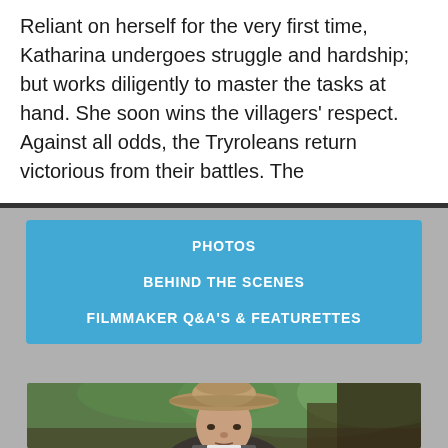Reliant on herself for the very first time, Katharina undergoes struggle and hardship; but works diligently to master the tasks at hand. She soon wins the villagers' respect. Against all odds, the Tryroleans return victorious from their battles. The
PHOTOS
BEHIND THE SCENES
FILMMAKER Q&A'S & FEATURETTES
[Figure (photo): A man wearing a wide-brimmed felt hat, looking at the camera with a serious expression. Blurred wooden structures and green foliage in the background. Period or rural setting.]